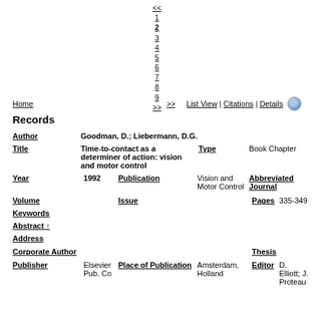<< 1 2 3 4 5 6 7 8 9 >>
Home   List View | Citations | Details
Records
| Field | Value | Field | Value |
| --- | --- | --- | --- |
| Author | Goodman, D.; Liebermann, D.G. |  |  |
| Title | Time-to-contact as a determiner of action: vision and motor control | Type | Book Chapter |
| Year | 1992 | Publication | Vision and Motor Control | Abbreviated Journal |  |
| Volume |  | Issue |  | Pages | 335-349 |
| Keywords |  |  |  |  |  |
| Abstract ↑ |  |  |  |  |  |
| Address |  |  |  |  |  |
| Corporate Author |  |  |  | Thesis |  |
| Publisher | Elsevier Pub. Co | Place of Publication | Amsterdam, Holland | Editor | D. Elliott; J. Proteau |